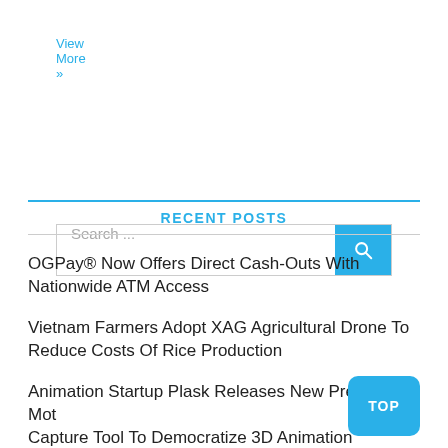View More »
[Figure (screenshot): Search bar with text input field showing 'Search ...' placeholder and a blue search button with magnifying glass icon]
RECENT POSTS
OGPay® Now Offers Direct Cash-Outs With Nationwide ATM Access
Vietnam Farmers Adopt XAG Agricultural Drone To Reduce Costs Of Rice Production
Animation Startup Plask Releases New Premium Motion Capture Tool To Democratize 3D Animation